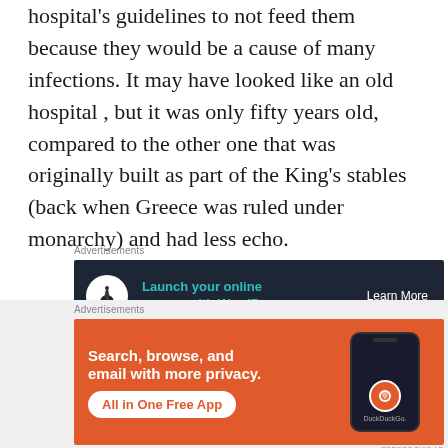hospital's guidelines to not feed them because they would be a cause of many infections. It may have looked like an old hospital , but it was only fifty years old, compared to the other one that was originally built as part of the King's stables (back when Greece was ruled under monarchy) and had less echo.
[Figure (other): Advertisement banner: dark navy background with tree/person circle icon on left, teal text 'Launch your online course with WordPress', white underlined 'Learn More' on right]
The birds took my mind off my problems for a while, with their subtle yet elegant rhythm and their
[Figure (other): Advertisement banner: orange background with white bold text 'Search, browse, and email with more privacy.' and white pill button 'All in One Free App', phone mockup with DuckDuckGo logo and brand name on right]